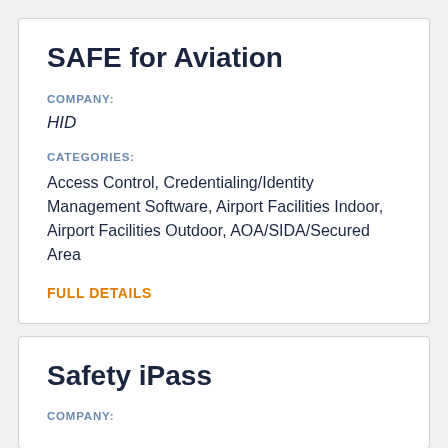SAFE for Aviation
COMPANY:
HID
CATEGORIES:
Access Control, Credentialing/Identity Management Software, Airport Facilities Indoor, Airport Facilities Outdoor, AOA/SIDA/Secured Area
FULL DETAILS
Safety iPass
COMPANY: